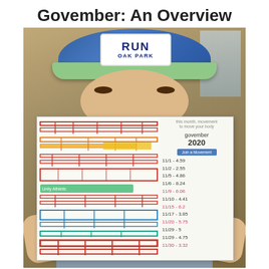Govember: An Overview
[Figure (photo): Person wearing a blue 'RUN OAK PARK' hat holding up a Govember 2020 running log paper with a colorful transit-style map on the left side and handwritten run entries on the right: 11/1-4.59, 11/2-2.55, 11/5-4.86, 11/6-8.24, 11/9-6.06 (pink), 11/10-4.41, 11/15-6.2 (pink), 11/17-3.85, 11/20-5.75 (pink), 11/29-5, 11/29-4.75, 11/30-3.32 (pink)]